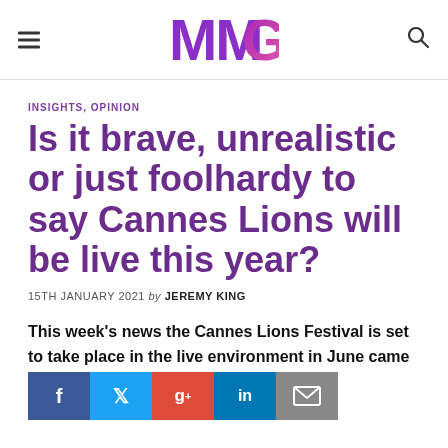MMG
INSIGHTS, OPINION
Is it brave, unrealistic or just foolhardy to say Cannes Lions will be live this year?
15TH JANUARY 2021 by JEREMY KING
This week's news the Cannes Lions Festival is set to take place in the live environment in June came as something of a surprise t... watched